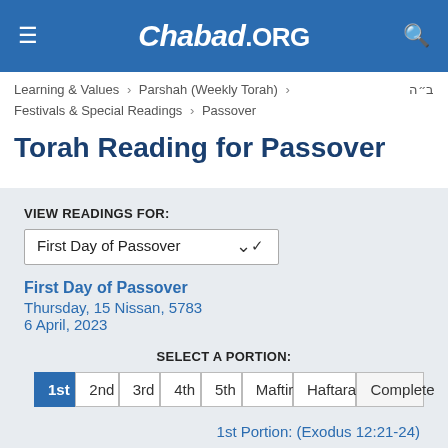Chabad.ORG
Learning & Values > Parshah (Weekly Torah) > Festivals & Special Readings > Passover
ב״ה
Torah Reading for Passover
VIEW READINGS FOR:
First Day of Passover
First Day of Passover
Thursday, 15 Nissan, 5783
6 April, 2023
SELECT A PORTION:
1st  2nd  3rd  4th  5th  Maftir  Haftarah  Complete
1st Portion: (Exodus 12:21-24)